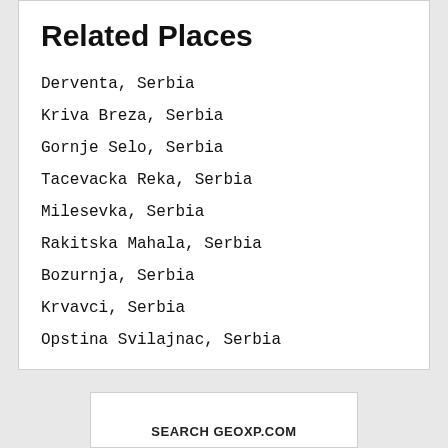Related Places
Derventa, Serbia
Kriva Breza, Serbia
Gornje Selo, Serbia
Tacevacka Reka, Serbia
Milesevka, Serbia
Rakitska Mahala, Serbia
Bozurnja, Serbia
Krvavci, Serbia
Opstina Svilajnac, Serbia
SEARCH GEOXP.COM